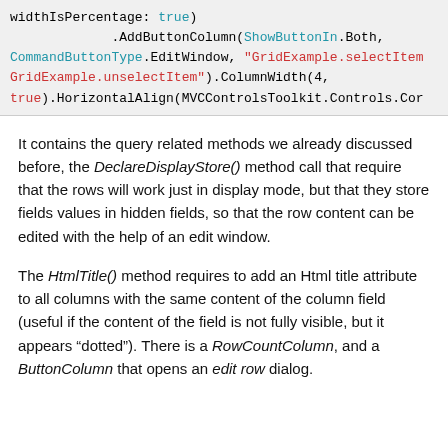[Figure (screenshot): Code block showing C# fluent API method calls: widthIsPercentage: true), .AddButtonColumn(ShowButtonIn.Both, CommandButtonType.EditWindow, "GridExample.selectItem GridExample.unselectItem").ColumnWidth(4, true).HorizontalAlign(MVCControlsToolkit.Controls.Cor]
It contains the query related methods we already discussed before, the DeclareDisplayStore() method call that require that the rows will work just in display mode, but that they store fields values in hidden fields, so that the row content can be edited with the help of an edit window.
The HtmlTitle() method requires to add an Html title attribute to all columns with the same content of the column field (useful if the content of the field is not fully visible, but it appears "dotted"). There is a RowCountColumn, and a ButtonColumn that opens an edit row dialog.